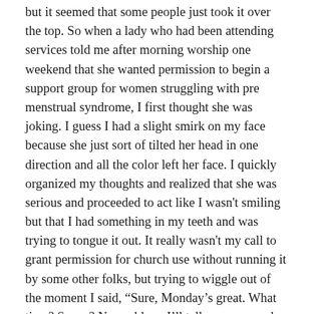but it seemed that some people just took it over the top. So when a lady who had been attending services told me after morning worship one weekend that she wanted permission to begin a support group for women struggling with pre menstrual syndrome, I first thought she was joking. I guess I had a slight smirk on my face because she just sort of tilted her head in one direction and all the color left her face. I quickly organized my thoughts and realized that she was serious and proceeded to act like I wasn't smiling but that I had something in my teeth and was trying to tongue it out. It really wasn't my call to grant permission for church use without running it by some other folks, but trying to wiggle out of the moment I said, “Sure, Monday’s great. What time? Seven? No problem. I’ll tell someone and the church will be open for you.” I didn’t think she meant that Monday – as in the next day! But she did. It was about 8:30 when I returned home from an evening at the grocery store with my family. As usual, I had more bags in my arms than necessary, but it’s a game guys play to see how many we can carry without losing one. I set them down and saw the message indicator on the